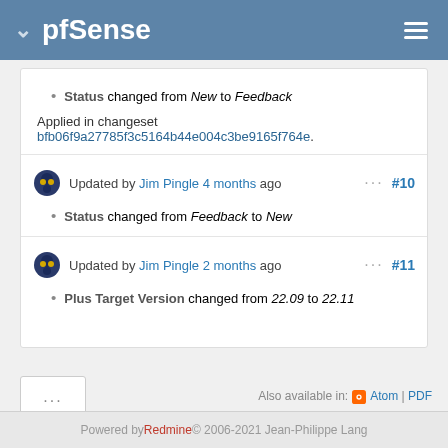pfSense
Status changed from New to Feedback
Applied in changeset bfb06f9a27785f3c5164b44e004c3be9165f764e.
Updated by Jim Pingle 4 months ago  ··· #10
Status changed from Feedback to New
Updated by Jim Pingle 2 months ago  ··· #11
Plus Target Version changed from 22.09 to 22.11
···
Also available in: Atom | PDF
Powered by Redmine © 2006-2021 Jean-Philippe Lang